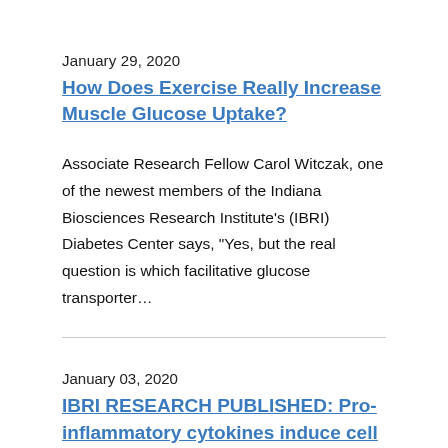January 29, 2020
How Does Exercise Really Increase Muscle Glucose Uptake?
Associate Research Fellow Carol Witczak, one of the newest members of the Indiana Biosciences Research Institute's (IBRI) Diabetes Center says, "Yes, but the real question is which facilitative glucose transporter...
January 03, 2020
IBRI RESEARCH PUBLISHED: Pro-inflammatory cytokines induce cell death, inflammatory responses,